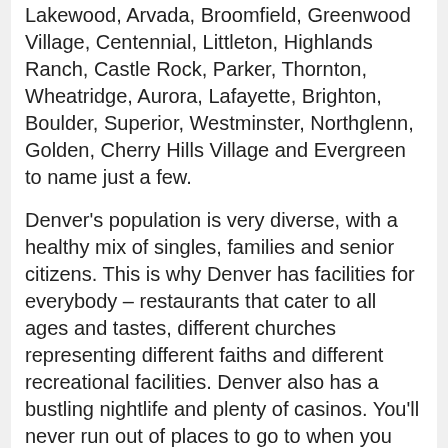Lakewood, Arvada, Broomfield, Greenwood Village, Centennial, Littleton, Highlands Ranch, Castle Rock, Parker, Thornton, Wheatridge, Aurora, Lafayette, Brighton, Boulder, Superior, Westminster, Northglenn, Golden, Cherry Hills Village and Evergreen to name just a few.
Denver's population is very diverse, with a healthy mix of singles, families and senior citizens. This is why Denver has facilities for everybody – restaurants that cater to all ages and tastes, different churches representing different faiths and different recreational facilities. Denver also has a bustling nightlife and plenty of casinos. You'll never run out of places to go to when you feel like having fun.
Remember that the cost comparisons, infrastructures, amenities and available properties vary in different areas, so do your research before deciding what area to buy real estate in.
New real estate projects across Denver